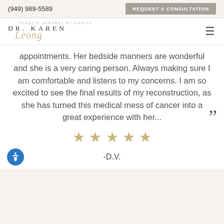(949) 989-5589 | REQUEST A CONSULTATION
[Figure (logo): Dr. Karen Leong Plastic Surgery by Design logo with stylized script]
appointments. Her bedside manners are wonderful and she is a very caring person. Always making sure I am comfortable and listens to my concerns. I am so excited to see the final results of my reconstruction, as she has turned this medical mess of cancer into a great experience with her...
[Figure (other): Five gold stars rating]
-D.V.